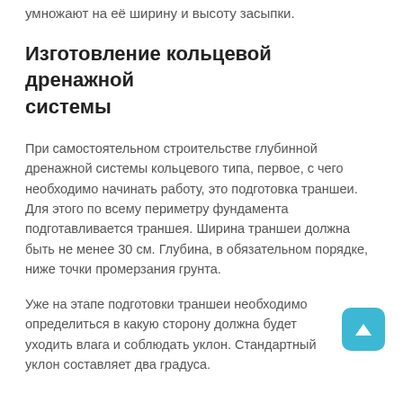умножают на её ширину и высоту засыпки.
Изготовление кольцевой дренажной системы
При самостоятельном строительстве глубинной дренажной системы кольцевого типа, первое, с чего необходимо начинать работу, это подготовка траншеи. Для этого по всему периметру фундамента подготавливается траншея. Ширина траншеи должна быть не менее 30 см. Глубина, в обязательном порядке, ниже точки промерзания грунта.
Уже на этапе подготовки траншеи необходимо определиться в какую сторону должна будет уходить влага и соблюдать уклон. Стандартный уклон составляет два градуса.